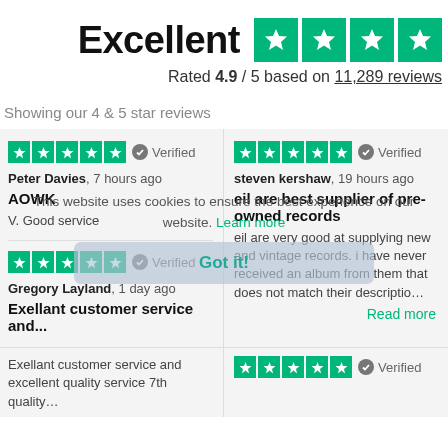Excellent ★★★★
Rated 4.9 / 5 based on 11,289 reviews
Showing our 4 & 5 star reviews
★★★★★ Verified
Peter Davies, 7 hours ago
AOWK
V. Good service
★★★★★ Verified
steven kershaw, 19 hours ago
eil are best supplier of pre-owned records
eil are very good at supplying new and vintage records. i have never received an album from them that does not match their description
★★★★★ Verified
Gregory Layland, 1 day ago
Exellant customer service and...
Exellant customer service and excellent quality service 7th quality
★★★★★ Verified
This website uses cookies to ensure the best experience on our website. Learn more
Got it!